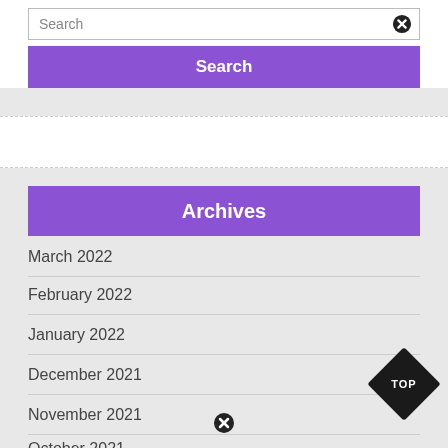Search
Search
Archives
March 2022
February 2022
January 2022
December 2021
November 2021
October 2021